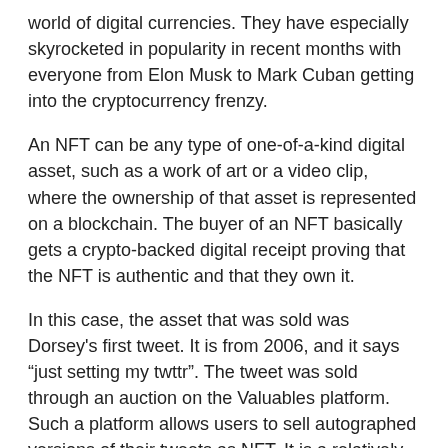world of digital currencies. They have especially skyrocketed in popularity in recent months with everyone from Elon Musk to Mark Cuban getting into the cryptocurrency frenzy.
An NFT can be any type of one-of-a-kind digital asset, such as a work of art or a video clip, where the ownership of that asset is represented on a blockchain. The buyer of an NFT basically gets a crypto-backed digital receipt proving that the NFT is authentic and that they own it.
In this case, the asset that was sold was Dorsey's first tweet. It is from 2006, and it says “just setting my twttr”. The tweet was sold through an auction on the Valuables platform. Such a platform allows users to sell autographed versions of their tweets as NFT. It is a relatively new niche, but you pay to own something unique and 100% original, as if it were a work of art.